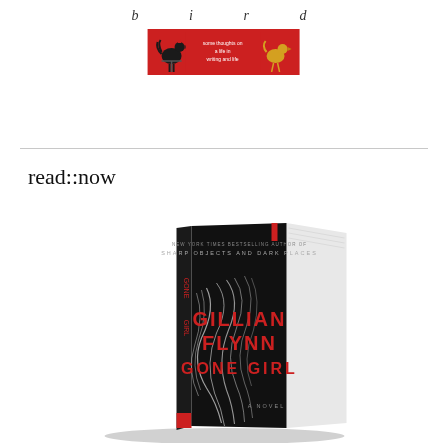b i r d
[Figure (logo): Bird by bird logo with weather vane rooster on left, red background with text in center, yellow bird on right]
read::now
[Figure (photo): Book cover of Gone Girl by Gillian Flynn - black hardcover with red lettering, showing white wispy hair-like tendrils against black background, 'GILLIAN FLYNN GONE GIRL A NOVEL' text on cover, 'GONE GIRL' in red on spine]